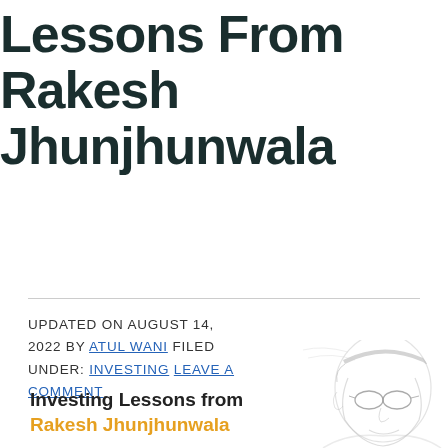Lessons From Rakesh Jhunjhunwala
UPDATED ON AUGUST 14, 2022 BY ATUL WANI FILED UNDER: INVESTING LEAVE A COMMENT
[Figure (illustration): Pencil sketch illustration of Rakesh Jhunjhunwala with text overlay: 'Investing Lessons from Rakesh Jhunjhunwala' in black and orange text]